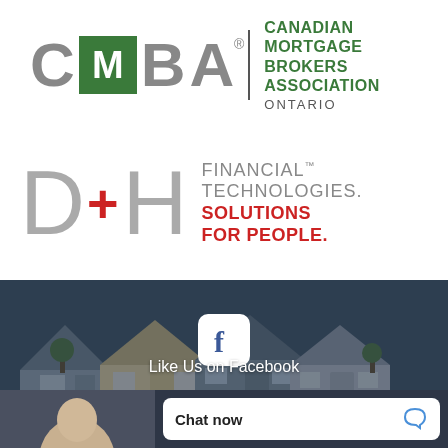[Figure (logo): CMBA Ontario logo - Canadian Mortgage Brokers Association Ontario with green box containing M letter]
[Figure (logo): D+H Financial Technologies. Solutions For People. logo with red plus sign]
[Figure (photo): Photograph of residential houses/neighborhood behind Facebook like button overlay]
Like Us on Facebook
[Figure (screenshot): Chat now button with chat icon at bottom of page]